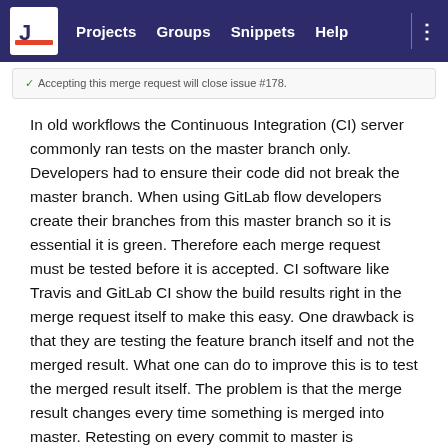Projects   Groups   Snippets   Help
[Figure (screenshot): Partial screenshot of a GitLab merge request notice: 'Accepting this merge request will close issue #178.']
In old workflows the Continuous Integration (CI) server commonly ran tests on the master branch only. Developers had to ensure their code did not break the master branch. When using GitLab flow developers create their branches from this master branch so it is essential it is green. Therefore each merge request must be tested before it is accepted. CI software like Travis and GitLab CI show the build results right in the merge request itself to make this easy. One drawback is that they are testing the feature branch itself and not the merged result. What one can do to improve this is to test the merged result itself. The problem is that the merge result changes every time something is merged into master. Retesting on every commit to master is computationally expensive and means you are more frequently waiting for test results. If there are no merge conflicts and the feature branches are short lived the risk is acceptable. If there are merge conflicts you merge the master branch into the feature branch and the CI server will rerun the tests. If you have long lived feature branches that last for more